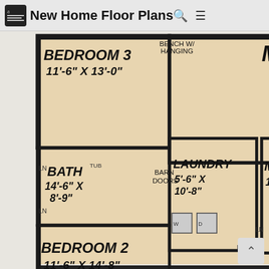New Home Floor Plans
[Figure (engineering-diagram): Home floor plan showing: Master Suite 21'-10" x 16'-0" with vaulted ceiling and master bath with free standing tub and shower/seat; Bedroom 3 11'-6" x 13'-0"; Bedroom 2 11'-6" x 14'-8"; Bath 14'-6" x 8'-9"; Laundry 5'-6" x 10'-8" with barn doors; Kitchen 11'-0" x 18'-0" with pantry; Grilling Porch 10'-0" x 18'-0"; Great Room 20'-0" x 29'-6" open to above; Dining 11'-0" x 18'-0"; Office/Flex Space 11'-0" x 18'-0" with opt. built-ins; Bench w/ hanging; staircase going up]